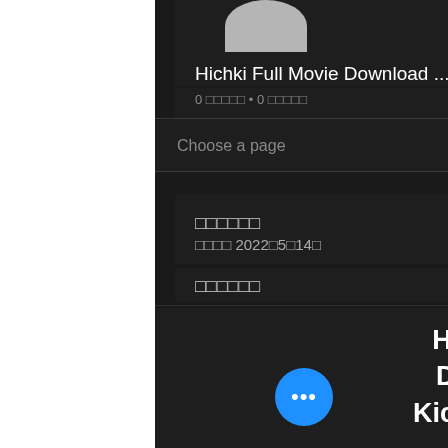[Figure (other): Partial gray avatar/profile circle at top]
Hichki Full Movie Download ...
0 □□□□□ • 0 □□□□□
Choose a page
□□□□□□
□□□□ 2022□5□14□
□□□□□□
Hichki Full Movie Download 1080p Kickass Torrent [Lat 2022]